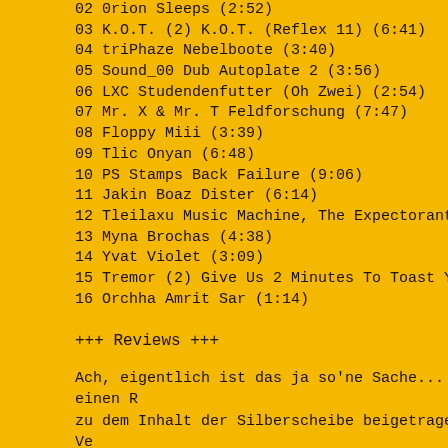02 0rion Sleeps (2:52)
03 K.O.T. (2) K.O.T. (Reflex 11) (6:41)
04 triPhaze Nebelboote (3:40)
05 Sound_00 Dub Autoplate 2 (3:56)
06 LXC Studendenfutter (Oh Zwei) (2:54)
07 Mr. X & Mr. T Feldforschung (7:47)
08 Floppy Miii (3:39)
09 Tlic Onyan (6:48)
10 PS Stamps Back Failure (9:06)
11 Jakin Boaz Dister (6:14)
12 Tleilaxu Music Machine, The Expectorant (4:28)
13 Myna Brochas (4:38)
14 Yvat Violet (3:09)
15 Tremor (2) Give Us 2 Minutes To Toast Your Brain (2:09)
16 Orchha Amrit Sar (1:14)
+++ Reviews +++
Ach, eigentlich ist das ja so'ne Sache... von wegen einen Rückzieher zu dem Inhalt der Silberscheibe beigetragen zu haben. Ve... Mauscheleien mit sich selbst? Jawoll! Äbernehmen wir d... geht's: Das Minor-Label aus Leipzig, welches sich der ung... Musik und Ä¤hnlichem verschrieben hat ("when all genres... to track and support the worst of all: electronic undergroun... "noiz" to avoid discussions. tracker music was never regar...